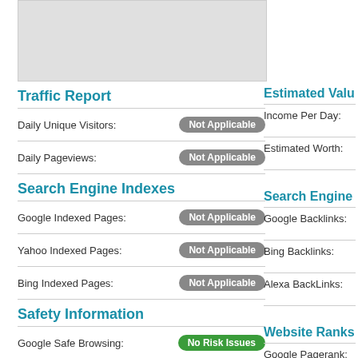[Figure (other): Gray placeholder image box]
Traffic Report
Estimated Valu
|  |  |
| --- | --- |
| Daily Unique Visitors: | Not Applicable |
| Daily Pageviews: | Not Applicable |
|  |  |
| --- | --- |
| Income Per Day: |  |
| Estimated Worth: |  |
Search Engine Indexes
Search Engine
|  |  |
| --- | --- |
| Google Indexed Pages: | Not Applicable |
| Yahoo Indexed Pages: | Not Applicable |
| Bing Indexed Pages: | Not Applicable |
|  |  |
| --- | --- |
| Google Backlinks: |  |
| Bing Backlinks: |  |
| Alexa BackLinks: |  |
Safety Information
Website Ranks
|  |  |
| --- | --- |
| Google Safe Browsing: | No Risk Issues |
| Siteadvisor Rating: | No Risk Issues |
| WOT Trustworthiness: | Very Poor |
|  |  |
| --- | --- |
| Google Pagerank: |  |
| Alexa Rank: |  |
| PageSpeed Score: |  |